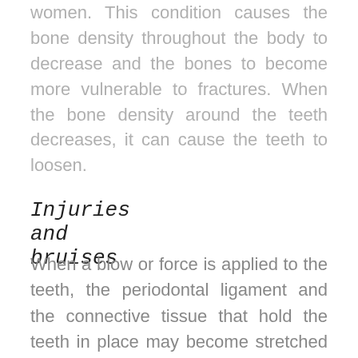women. This condition causes the bone density throughout the body to decrease and the bones to become more vulnerable to fractures. When the bone density around the teeth decreases, it can cause the teeth to loosen.
Injuries and bruises
When a blow or force is applied to the teeth, the periodontal ligament and the connective tissue that hold the teeth in place may become stretched and damaged. Periodontal ligament strain can cause loose teeth. This happens when you